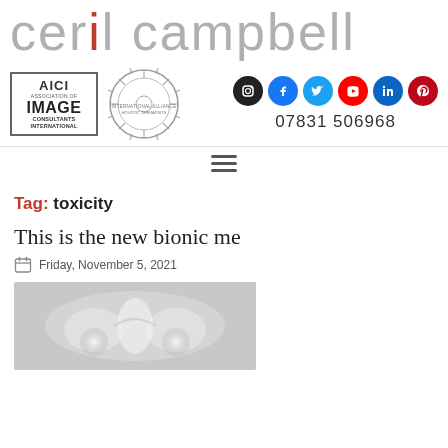ceril campbell
[Figure (logo): AICI - Association of Image Consultants International badge]
[Figure (logo): International Alliance of Holistic Therapists circular seal]
[Figure (infographic): Social media icons: Instagram, Facebook, Twitter, YouTube, LinkedIn, Pinterest]
07831 506968
Tag: toxicity
This is the new bionic me
Friday, November 5, 2021
[Figure (photo): Medical X-ray image showing pelvis/hip area]